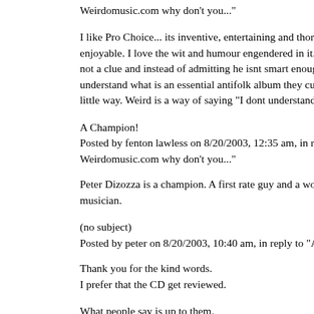Weirdomusic.com why don't you..."
I like Pro Choice... its inventive, entertaining and thoroughly enjoyable. I love the wit and humour engendered in it. I think t has not a clue and instead of admitting he isnt smart enough to understand what is an essential antifolk album they cut it down snide little way. Weird is a way of saying "I dont understand".
A Champion!
Posted by fenton lawless on 8/20/2003, 12:35 am, in reply to " it to Weirdomusic.com why don't you..."
Peter Dizozza is a champion. A first rate guy and a wonderful musician.
(no subject)
Posted by peter on 8/20/2003, 10:40 am, in reply to "A Champ
Thank you for the kind words.
I prefer that the CD get reviewed.
What people say is up to them.
I sent it to weirdo cause they include raymond scott, daniel joh henry mancini and frank zappa on their short artist list.